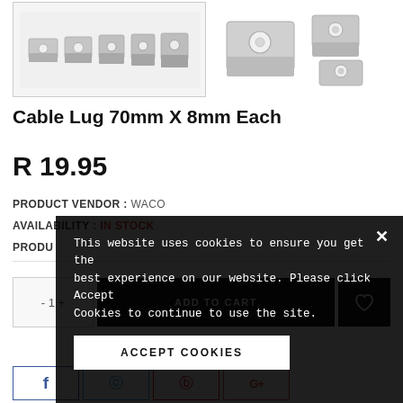[Figure (photo): Multiple cable lugs 70mm x 8mm arranged in a row, silver metallic color]
[Figure (photo): Close-up of two cable lugs 70mm x 8mm, silver metallic color]
Cable Lug 70mm X 8mm Each
R 19.95
PRODUCT VENDOR : WACO
AVAILABILITY : IN STOCK
PRODUCT...
This website uses cookies to ensure you get the best experience on our website. Please click Accept Cookies to continue to use the site.
ACCEPT COOKIES